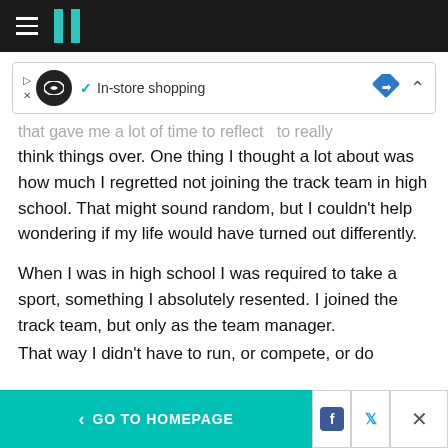HuffPost navigation bar with hamburger menu and logo
[Figure (screenshot): Ad banner with play/close controls, circular logo, checkmark, 'In-store shopping' text, blue diamond navigation icon, and caret up button]
...that gave me a lot of time to reflect... to really think things over. One thing I thought a lot about was how much I regretted not joining the track team in high school. That might sound random, but I couldn't help wondering if my life would have turned out differently.
When I was in high school I was required to take a sport, something I absolutely resented. I joined the track team, but only as the team manager. That way I didn't have to run, or compete, or do
< GO TO HOMEPAGE  [Facebook] [Twitter] [X]